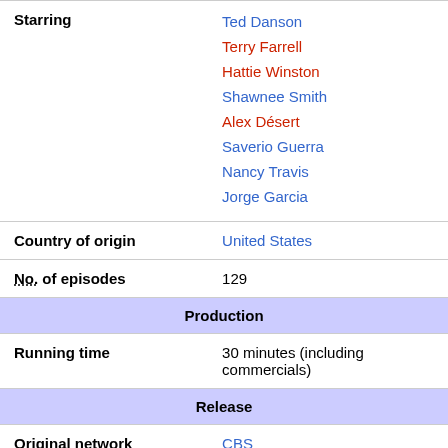| Field | Value |
| --- | --- |
| Starring | Ted Danson
Terry Farrell
Hattie Winston
Shawnee Smith
Alex Désert
Saverio Guerra
Nancy Travis
Jorge Garcia |
| Country of origin | United States |
| No. of episodes | 129 |
| Production |  |
| Running time | 30 minutes (including commercials) |
| Release |  |
| Original network | CBS |